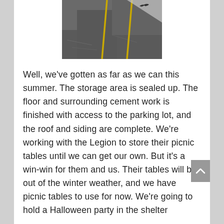[Figure (photo): Aerial or close-up photo of a dark concrete parking lot surface with yellow painted lines/stripes visible.]
Well, we've gotten as far as we can this summer. The storage area is sealed up. The floor and surrounding cement work is finished with access to the parking lot, and the roof and siding are complete. We're working with the Legion to store their picnic tables until we can get our own. But it's a win-win for them and us. Their tables will be out of the winter weather, and we have picnic tables to use for now. We're going to hold a Halloween party in the shelter